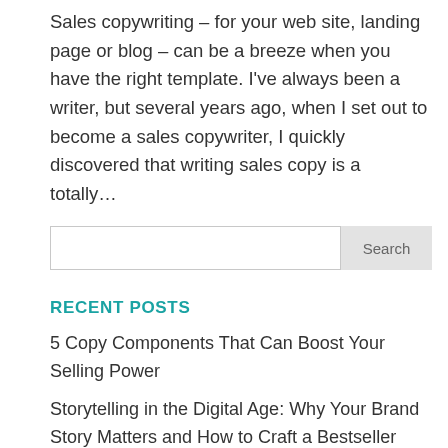Sales copywriting – for your web site, landing page or blog – can be a breeze when you have the right template. I've always been a writer, but several years ago, when I set out to become a sales copywriter, I quickly discovered that writing sales copy is a totally...
Search
RECENT POSTS
5 Copy Components That Can Boost Your Selling Power
Storytelling in the Digital Age: Why Your Brand Story Matters and How to Craft a Bestseller
From Paris With Love: French Kande's Au